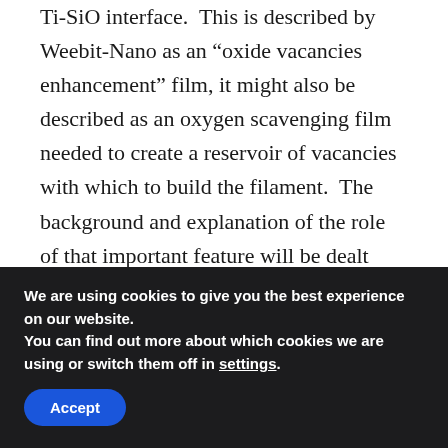Ti-SiO interface.  This is described by Weebit-Nano as an “oxide vacancies enhancement” film, it might also be described as an oxygen scavenging film needed to create a reservoir of vacancies with which to build the filament.  The background and explanation of the role of that important feature will be dealt with in a section below titled: “The Role of the Scavenger Film”.  Oxygen vacancy-based filament NV memories are often known as OxRAMs.
The thickness dimensions for the combined SiO Ti and the
We are using cookies to give you the best experience on our website.
You can find out more about which cookies we are using or switch them off in settings.
Accept